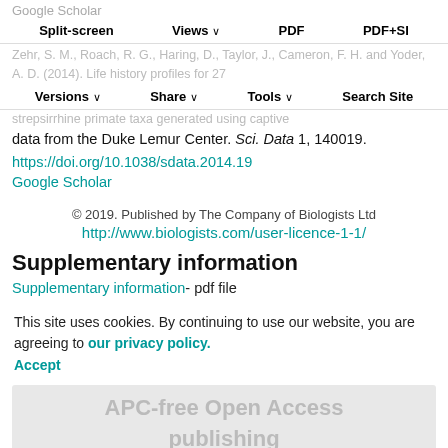Google Scholar
Split-screen  Views  PDF  PDF+SI
Zehr, S. M., Roach, R. G., Haring, D., Taylor, J., Cameron, F. H. and Yoder, A. D. (2014). Life history profiles for 27 strepsirrhine primate taxa generated using captive data from the Duke Lemur Center. Sci. Data 1, 140019.
https://doi.org/10.1038/sdata.2014.19
Google Scholar
Versions  Share  Tools  Search Site
© 2019. Published by The Company of Biologists Ltd
http://www.biologists.com/user-licence-1-1/
Supplementary information
Supplementary information - pdf file
This site uses cookies. By continuing to use our website, you are agreeing to our privacy policy. Accept
[Figure (other): APC-free Open Access publishing watermark/banner]